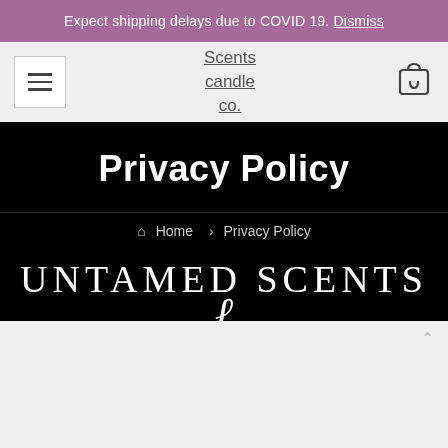Expect shipping delays due to COVID 19. Dismiss
Scents candle co. [navigation with hamburger menu and cart icon]
Privacy Policy
Home > Privacy Policy
[Figure (logo): Untamed Scents candle co. logo in white serif text on black background with decorative script element]